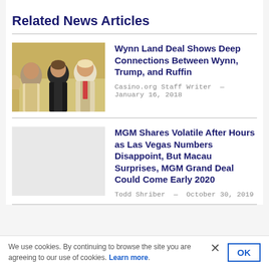Related News Articles
[Figure (photo): Photo of three men standing together in formal attire]
Wynn Land Deal Shows Deep Connections Between Wynn, Trump, and Ruffin
Casino.org Staff Writer — January 16, 2018
MGM Shares Volatile After Hours as Las Vegas Numbers Disappoint, But Macau Surprises, MGM Grand Deal Could Come Early 2020
Todd Shriber — October 30, 2019
We use cookies. By continuing to browse the site you are agreeing to our use of cookies. Learn more.